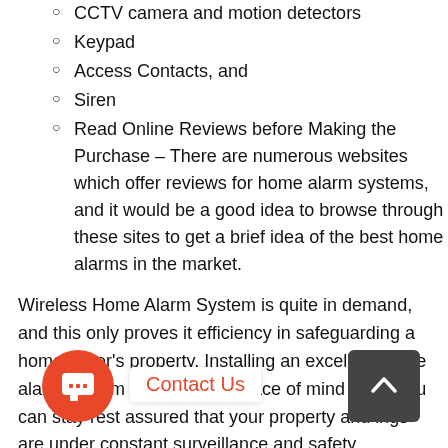CCTV camera and motion detectors
Keypad
Access Contacts, and
Siren
Read Online Reviews before Making the Purchase – There are numerous websites which offer reviews for home alarm systems, and it would be a good idea to browse through these sites to get a brief idea of the best home alarms in the market.
Wireless Home Alarm System is quite in demand, and this only proves it efficiency in safeguarding a homeowner's property. Installing an excellent home alarm system will give you peace of mind since you can stay rest assured that your property and ings are under constant surveillance and safety.